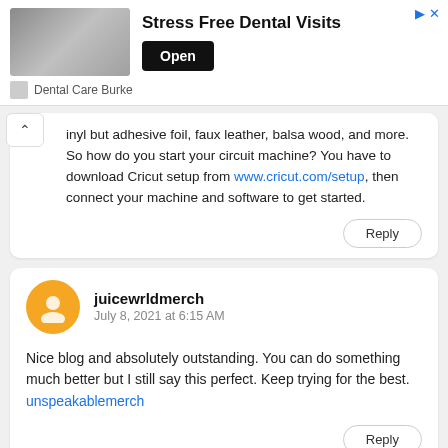[Figure (photo): Advertisement banner for Dental Care Burke showing a person at a dental office. Text reads 'Stress Free Dental Visits' with an 'Open' button.]
inyl but adhesive foil, faux leather, balsa wood, and more. So how do you start your circuit machine? You have to download Cricut setup from www.cricut.com/setup, then connect your machine and software to get started.
Reply
juicewrldmerch
July 8, 2021 at 6:15 AM
Nice blog and absolutely outstanding. You can do something much better but I still say this perfect. Keep trying for the best.
unspeakablemerch
Reply